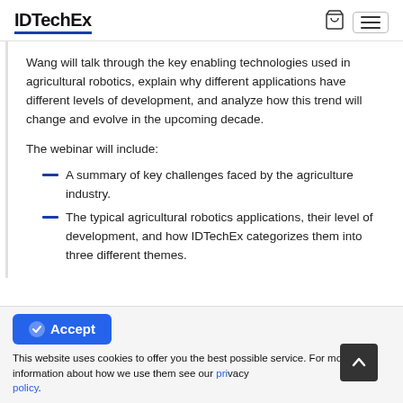IDTechEx
Wang will talk through the key enabling technologies used in agricultural robotics, explain why different applications have different levels of development, and analyze how this trend will change and evolve in the upcoming decade.
The webinar will include:
A summary of key challenges faced by the agriculture industry.
The typical agricultural robotics applications, their level of development, and how IDTechEx categorizes them into three different themes.
Accept
This website uses cookies to offer you the best possible service. For more information about how we use them see our privacy policy.